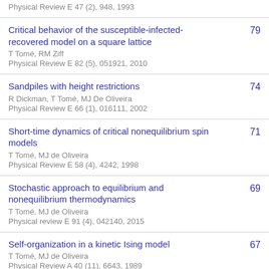Physical Review E 47 (2), 948, 1993
Critical behavior of the susceptible-infected-recovered model on a square lattice
T Tomé, RM Ziff
Physical Review E 82 (5), 051921, 2010
79
Sandpiles with height restrictions
R Dickman, T Tomé, MJ De Oliveira
Physical Review E 66 (1), 016111, 2002
74
Short-time dynamics of critical nonequilibrium spin models
T Tomé, MJ de Oliveira
Physical Review E 58 (4), 4242, 1998
71
Stochastic approach to equilibrium and nonequilibrium thermodynamics
T Tomé, MJ de Oliveira
Physical review E 91 (4), 042140, 2015
69
Self-organization in a kinetic Ising model
T Tomé, MJ de Oliveira
Physical Review A 40 (11), 6643, 1989
67